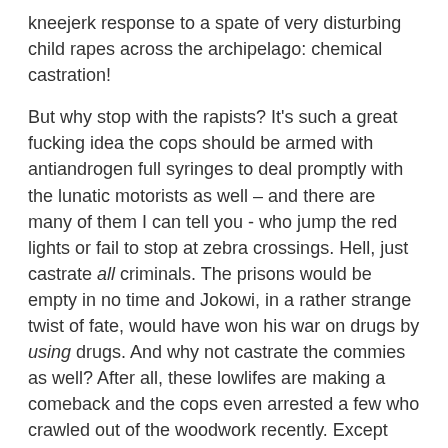kneejerk response to a spate of very disturbing child rapes across the archipelago: chemical castration!

But why stop with the rapists? It's such a great fucking idea the cops should be armed with antiandrogen full syringes to deal promptly with the lunatic motorists as well – and there are many of them I can tell you - who jump the red lights or fail to stop at zebra crossings. Hell, just castrate all criminals. The prisons would be empty in no time and Jokowi, in a rather strange twist of fate, would have won his war on drugs by using drugs. And why not castrate the commies as well? After all, these lowlifes are making a comeback and the cops even arrested a few who crawled out of the woodwork recently. Except they weren't commies. They were Indonesian Coffee Lovers…